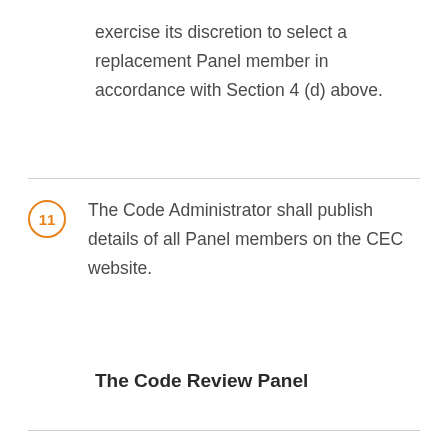exercise its discretion to select a replacement Panel member in accordance with Section 4 (d) above.
11 The Code Administrator shall publish details of all Panel members on the CEC website.
The Code Review Panel